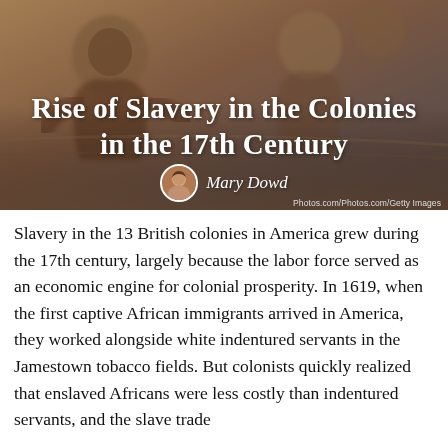[Figure (photo): Sepia-toned mural or artistic illustration depicting figures, used as hero background image for article about slavery in the colonies]
Rise of Slavery in the Colonies in the 17th Century
Mary Dowd
Photos.com/Photos.com/Getty Images
Slavery in the 13 British colonies in America grew during the 17th century, largely because the labor force served as an economic engine for colonial prosperity. In 1619, when the first captive African immigrants arrived in America, they worked alongside white indentured servants in the Jamestown tobacco fields. But colonists quickly realized that enslaved Africans were less costly than indentured servants, and the slave trade